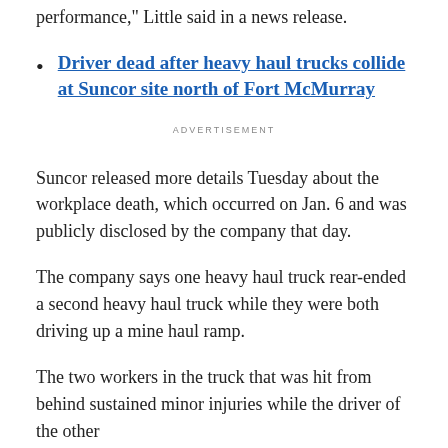performance," Little said in a news release.
Driver dead after heavy haul trucks collide at Suncor site north of Fort McMurray
ADVERTISEMENT
Suncor released more details Tuesday about the workplace death, which occurred on Jan. 6 and was publicly disclosed by the company that day.
The company says one heavy haul truck rear-ended a second heavy haul truck while they were both driving up a mine haul ramp.
The two workers in the truck that was hit from behind sustained minor injuries while the driver of the other